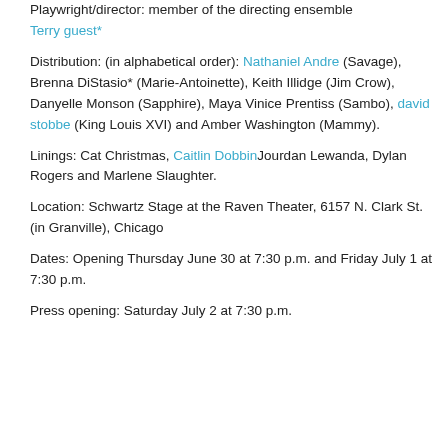Playwright/director: member of the directing ensemble Terry guest*
Distribution: (in alphabetical order): Nathaniel Andre (Savage), Brenna DiStasio* (Marie-Antoinette), Keith Illidge (Jim Crow), Danyelle Monson (Sapphire), Maya Vinice Prentiss (Sambo), david stobbe (King Louis XVI) and Amber Washington (Mammy).
Linings: Cat Christmas, Caitlin DobbinJourdan Lewanda, Dylan Rogers and Marlene Slaughter.
Location: Schwartz Stage at the Raven Theater, 6157 N. Clark St. (in Granville), Chicago
Dates: Opening Thursday June 30 at 7:30 p.m. and Friday July 1 at 7:30 p.m.
Press opening: Saturday July 2 at 7:30 p.m.